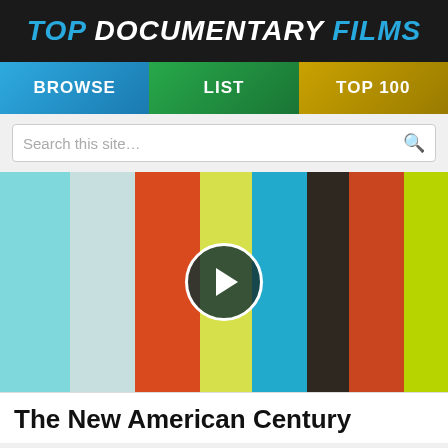TOP DOCUMENTARY FILMS
BROWSE  LIST  TOP 100
Search this site...
[Figure (screenshot): Colorful vertical bars (TV test card style) with a play button overlay in the center, serving as a video thumbnail for the documentary.]
The New American Century